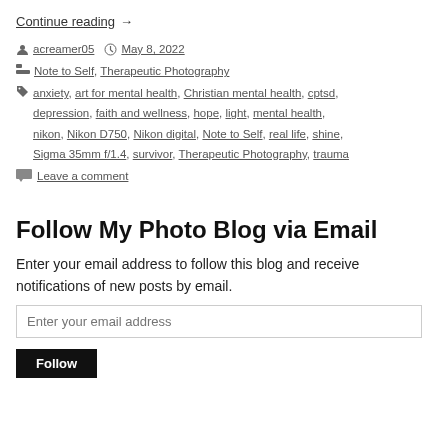Continue reading →
by acreamer05  May 8, 2022  Note to Self, Therapeutic Photography  anxiety, art for mental health, Christian mental health, cptsd, depression, faith and wellness, hope, light, mental health, nikon, Nikon D750, Nikon digital, Note to Self, real life, shine, Sigma 35mm f/1.4, survivor, Therapeutic Photography, trauma  Leave a comment
Follow My Photo Blog via Email
Enter your email address to follow this blog and receive notifications of new posts by email.
Enter your email address
Follow